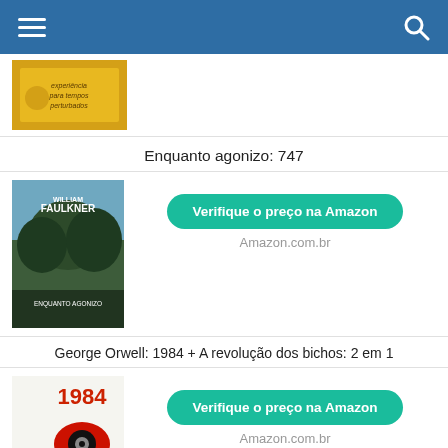≡  🔍
[Figure (photo): Book cover thumbnail - yellow/gold colored book]
Enquanto agonizo: 747
[Figure (photo): Book cover - William Faulkner Enquanto Agonizo]
Verifique o preço na Amazon
Amazon.com.br
George Orwell: 1984 + A revolução dos bichos: 2 em 1
[Figure (photo): Book cover - George Orwell 1984 + A Revolução dos Bichos]
Verifique o preço na Amazon
Amazon.com.br
Tônico Fortalecedor S.O.S Bomba Crescimento Acelerado, 100ml, Salon Line, Salon Line, 100ml